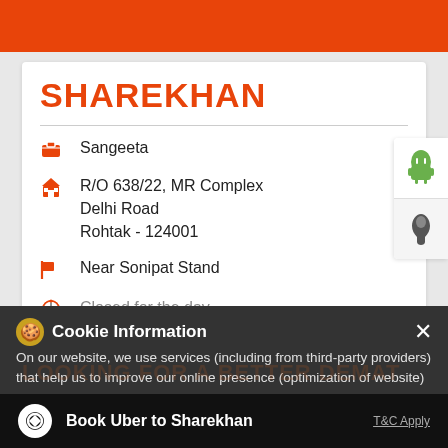[Figure (screenshot): Top orange header bar of a website/app]
SHAREKHAN
Sangeeta
R/O 638/22, MR Complex Delhi Road Rohtak - 124001
Near Sonipat Stand
Closed for the day
Cookie Information
On our website, we use services (including from third-party providers) that help us to improve our online presence (optimization of website) and to display content that is geared to their interests. We need your consent before being able to use these services.
LOOKING FOR A BETTER DEMAT
Book Uber to Sharekhan
T&C Apply